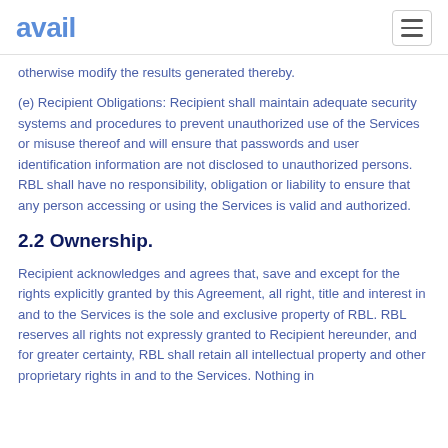avail
otherwise modify the results generated thereby.
(e) Recipient Obligations: Recipient shall maintain adequate security systems and procedures to prevent unauthorized use of the Services or misuse thereof and will ensure that passwords and user identification information are not disclosed to unauthorized persons. RBL shall have no responsibility, obligation or liability to ensure that any person accessing or using the Services is valid and authorized.
2.2 Ownership.
Recipient acknowledges and agrees that, save and except for the rights explicitly granted by this Agreement, all right, title and interest in and to the Services is the sole and exclusive property of RBL. RBL reserves all rights not expressly granted to Recipient hereunder, and for greater certainty, RBL shall retain all intellectual property and other proprietary rights in and to the Services. Nothing in